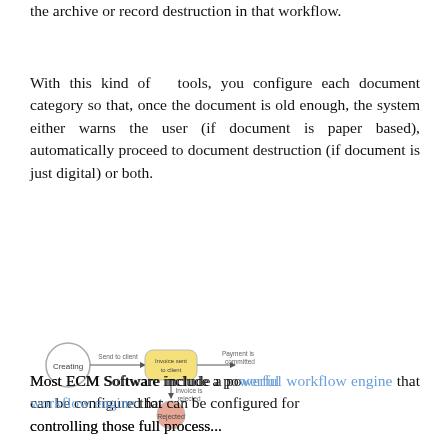the archive or record destruction in that workflow.
With this kind of  tools, you configure each document category so that, once the document is old enough, the system either warns the user (if document is paper based), automatically proceed to document destruction (if document is just digital) or both.
[Figure (flowchart): A flowchart showing invoice workflow: Creating -> Send to client -> Invoice sent to client -> Payment is committed, with a branch for Invoice is rejected -> Rejected]
Most ECM Software include a powerful workflow engine that can be configured for controlling those full process...